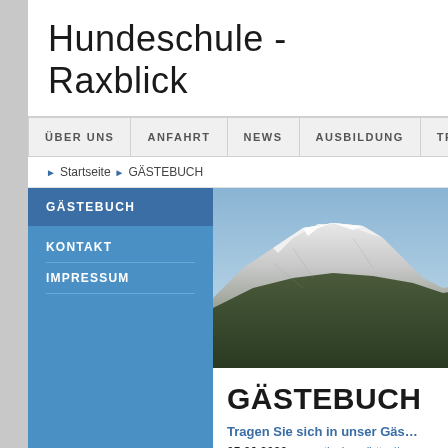Hundeschule - Raxblick
ÜBER UNS  ANFAHRT  NEWS  AUSBILDUNG  TRAINING
Startseite ▶ GÄSTEBUCH
GÄSTEBUCH
KONTAKT
IMPRESSUM
[Figure (photo): Snow-capped mountain (Rax) under blue sky, partial view cropped at right edge]
GÄSTEBUCH
Tragen Sie sich in unser Gäs…
05.06.2020 - zppptjzvlreq (http://w… option=com_k2&view=itemlist&tas… where can i get viagra without a pres… title=tips-to-help-you-cope-with-canc…